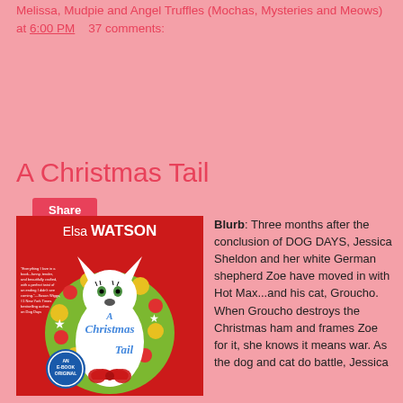Melissa, Mudpie and Angel Truffles (Mochas, Mysteries and Meows) at 6:00 PM    37 comments:
Share
A Christmas Tail
[Figure (illustration): Book cover of 'A Christmas Tail' by Elsa Watson. Red and yellow-green background with a white dog surrounded by Christmas wreath. Text reads 'Elsa WATSON' at top and 'A Christmas Tail' in stylized script. Badge reads 'AN E-BOOK ORIGINAL'. Quote on left side.]
Blurb: Three months after the conclusion of DOG DAYS, Jessica Sheldon and her white German shepherd Zoe have moved in with Hot Max...and his cat, Groucho. When Groucho destroys the Christmas ham and frames Zoe for it, she knows it means war. As the dog and cat do battle, Jessica